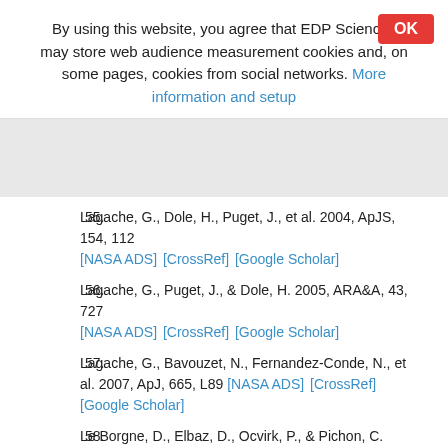By using this website, you agree that EDP Sciences may store web audience measurement cookies and, on some pages, cookies from social networks. More information and setup
55. Lagache, G., Dole, H., Puget, J., et al. 2004, ApJS, 154, 112 [NASA ADS] [CrossRef] [Google Scholar]
56. Lagache, G., Puget, J., & Dole, H. 2005, ARA&A, 43, 727 [NASA ADS] [CrossRef] [Google Scholar]
57. Lagache, G., Bavouzet, N., Fernandez-Conde, N., et al. 2007, ApJ, 665, L89 [NASA ADS] [CrossRef] [Google Scholar]
58. Le Borgne, D., Elbaz, D., Ocvirk, P., & Pichon, C. 2009, A&A, 504, 727 [NASA ADS] [CrossRef] [EDP Sciences]